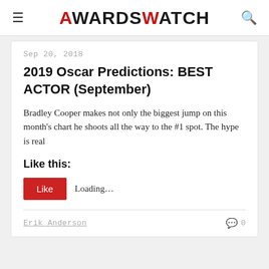AWARDSWATCH
Sep 20, 2018
2019 Oscar Predictions: BEST ACTOR (September)
Bradley Cooper makes not only the biggest jump on this month's chart he shoots all the way to the #1 spot. The hype is real
Like this:
Like   Loading...
Erik Anderson   0